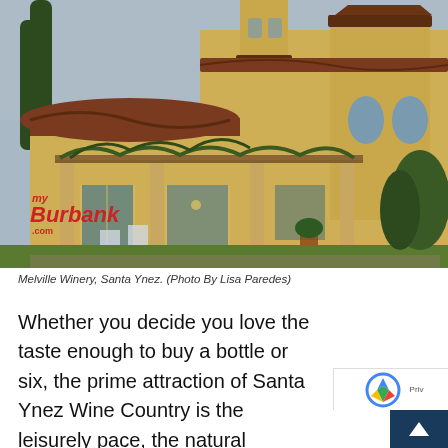[Figure (photo): Exterior photo of Melville Winery in Santa Ynez. A Spanish/Mediterranean-style building with yellow stucco walls, dark tile roof, a bell tower, arched windows, and a pergola covered with climbing vines. Outdoor seating visible on terrace. Overcast sky. myBurbank.com watermark in lower left corner.]
Melville Winery, Santa Ynez. (Photo By Lisa Paredes)
Whether you decide you love the taste enough to buy a bottle or six, the prime attraction of Santa Ynez Wine Country is the leisurely pace, the natural environment and delicious f available.